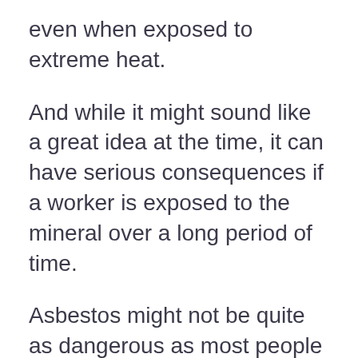even when exposed to extreme heat.
And while it might sound like a great idea at the time, it can have serious consequences if a worker is exposed to the mineral over a long period of time.
Asbestos might not be quite as dangerous as most people think. If it were, all new construction projects would be banned today. But even though it is still used in old buildings, it's been greatly reduced in recent years.